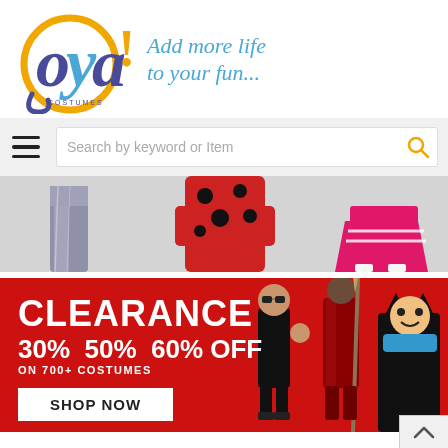[Figure (logo): Oya Costumes logo — circular gold/purple 'oya!' mark with tagline 'Add more life to your fun...' in blue italic text]
[Figure (screenshot): Navigation bar with hamburger menu icon and search box reading 'Search by keyword or Item' with gold magnifying glass icon]
[Figure (photo): Costume banner strip showing lower bodies of three people in costumes: silver metallic, red ladybug, pink cheerleader]
[Figure (infographic): Red clearance banner reading CLEARANCE 30% 50% 60% OFF ON 700+ COSTUMES with SHOP NOW button and costume figures on right]